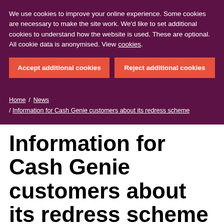We use cookies to improve your online experience. Some cookies are necessary to make the site work. We'd like to set additional cookies to understand how the website is used. These are optional. All cookie data is anonymised. View cookies.
Accept additional cookies
Reject additional cookies
Home / News / Information for Cash Genie customers about its redress scheme
Information for Cash Genie customers about its redress scheme